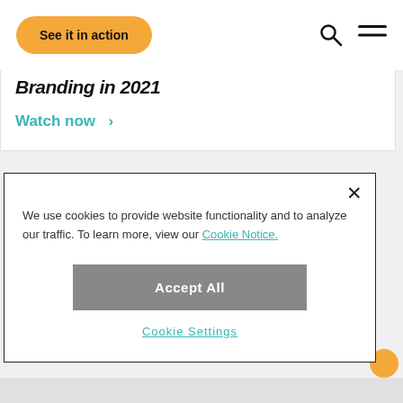[Figure (screenshot): Orange rounded button labeled 'See it in action' with search and hamburger menu icons on the right in a white navigation bar]
Branding in 2021
Watch now >
We use cookies to provide website functionality and to analyze our traffic. To learn more, view our Cookie Notice.
Accept All
Cookie Settings